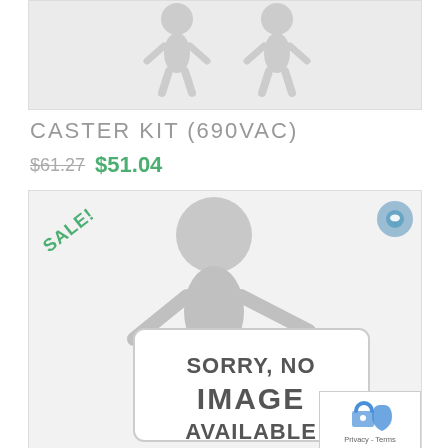[Figure (illustration): Top product image area showing a blurred stick figure / 3D placeholder person, no image available]
CASTER KIT (690VAC)
$61.27 $51.04
[Figure (illustration): Product image placeholder showing a 3D stick figure holding a sign that reads 'SORRY, NO IMAGE AVAILABLE'. A green SALE! badge is in the top-left corner. A chat bubble icon is in the top-right corner. A Privacy - Terms badge is in the bottom-right corner.]